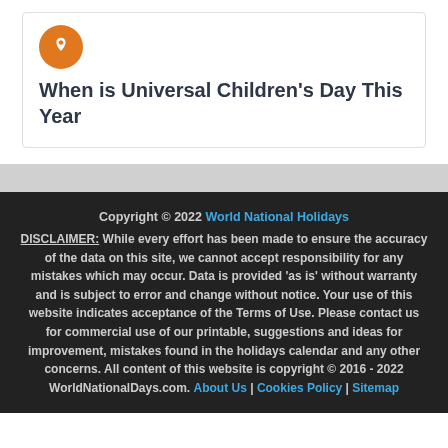When is Universal Children's Day This Year
Copyright © 2022 World National Holidays DISCLAIMER: While every effort has been made to ensure the accuracy of the data on this site, we cannot accept responsibility for any mistakes which may occur. Data is provided 'as is' without warranty and is subject to error and change without notice. Your use of this website indicates acceptance of the Terms of Use. Please contact us for commercial use of our printable, suggestions and ideas for improvement, mistakes found in the holidays calendar and any other concerns. All content of this website is copyright © 2016 - 2022 WorldNationalDays.com. About Us | Cookies Policy | Sitemap